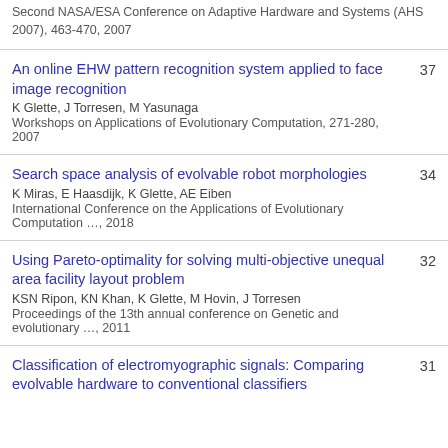Second NASA/ESA Conference on Adaptive Hardware and Systems (AHS 2007), 463-470, 2007
An online EHW pattern recognition system applied to face image recognition | K Glette, J Torresen, M Yasunaga | Workshops on Applications of Evolutionary Computation, 271-280, 2007 | 37
Search space analysis of evolvable robot morphologies | K Miras, E Haasdijk, K Glette, AE Eiben | International Conference on the Applications of Evolutionary Computation …, 2018 | 34
Using Pareto-optimality for solving multi-objective unequal area facility layout problem | KSN Ripon, KN Khan, K Glette, M Hovin, J Torresen | Proceedings of the 13th annual conference on Genetic and evolutionary …, 2011 | 32
Classification of electromyographic signals: Comparing evolvable hardware to conventional classifiers | 31